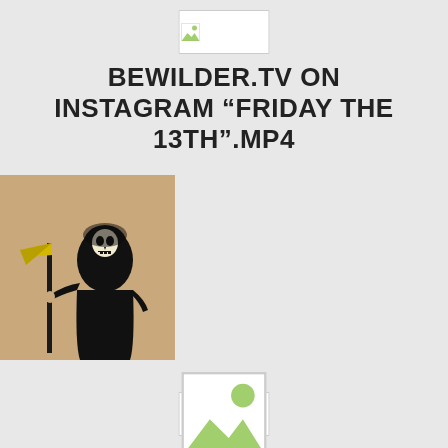[Figure (other): Broken image placeholder icon at top center]
BEWILDER.TV ON INSTAGRAM “FRIDAY THE 13TH”.MP4
[Figure (illustration): Grim Reaper illustration on tan/beige background. A stylized black figure wearing a hooded robe with a white skull face, holding a scythe staff with a yellow/gold blade, standing upright against a tan-brown background.]
[Figure (other): Broken image placeholder icon at bottom center]